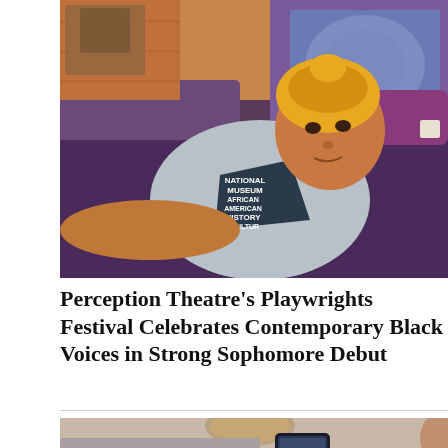[Figure (photo): A young Black woman wearing a yellow head wrap and a gray National Museum of African American History and Culture t-shirt, lying on a bed with purple and patterned bedding and pillows]
Perception Theatre's Playwrights Festival Celebrates Contemporary Black Voices in Strong Sophomore Debut
[Figure (photo): Partial view of a person lying down with a smartphone in the foreground, low-angle shot]